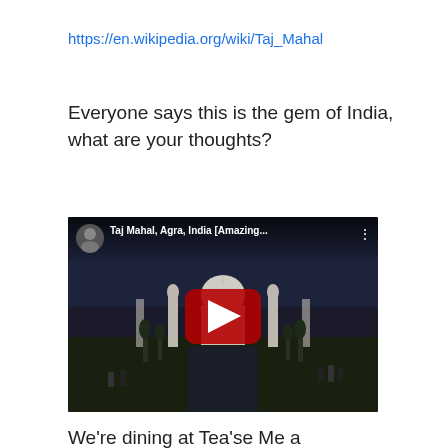https://en.wikipedia.org/wiki/Taj_Mahal
Everyone says this is the gem of India, what are your thoughts?
[Figure (screenshot): YouTube video thumbnail showing Taj Mahal, Agra, India with title 'Taj Mahal, Agra, India [Amazing...' and a red play button overlay, with a user avatar on the top left.]
We're dining at Tea'se Me a recoomended place to see Agra at night from the roof top restaurant.